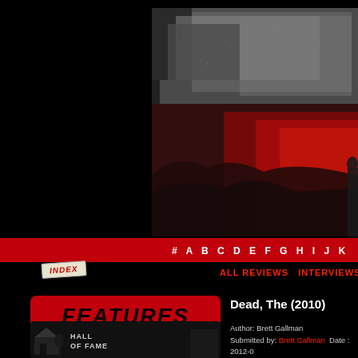[Figure (photo): Horror movie scene — dark, grainy black-and-white and red-tinted image showing a bloody landscape, possibly a zombie/horror film still from 'The Dead (2010)'. Top half black, image centered-right.]
# A B C D E F G H I J K
INDEX
ALL REVIEWS   INTERVIEWS/EXT
[Figure (logo): FEATURES logo in dark horror-style font on red rounded rectangle background]
[Figure (logo): Hall of Fame logo with haunted house illustration on dark background]
Dead, The (2010)
Author: Brett Gallman
Submitted by: Brett Gallman   Date : 2012-0
{ BLOCK .MAIN.PAGE ADMIN}